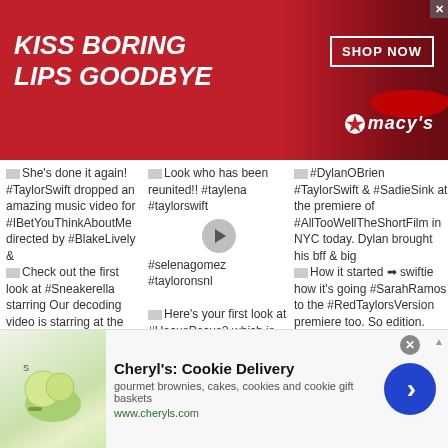[Figure (infographic): Macy's banner advertisement: 'KISS BORING LIPS GOODBYE' with woman's lips, SHOP NOW button and Macy's logo]
She's done it again! #TaylorSwift dropped an amazing music video for #IBetYouThinkAboutMe directed by #BlakeLively & starring #MilesTeller. Our decoding video is starring at the link in bio. @chosenjacobs & @officiallexiunderwood
Look who has been reunited!! #taylena #taylorswift #selenagomez #tayloronsnl Here's your first look at #HocusPocus2 which is filming now! Happy
#DylanOBrien #TaylorSwift & #SadieSink at the premiere of #AllTooWellTheShortFilm in NYC today. Dylan brought his bff & big swiftie how it's going #SarahRamos to the #RedTaylorsVersion premiere too. So edition. #taylorswift cute. Are you excited for the short film?
Check out the first look at #Sneakerella starring
[Figure (infographic): Cheryl's Cookie Delivery advertisement with food image, title, description and arrow button]